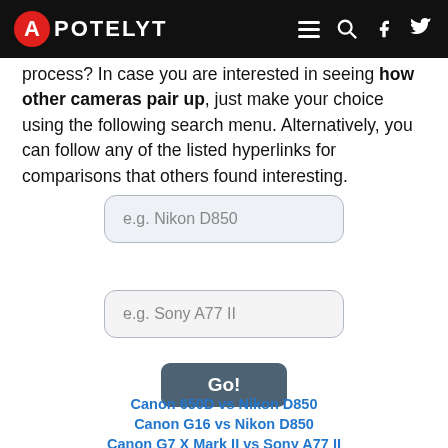APOTELYT
process? In case you are interested in seeing how other cameras pair up, just make your choice using the following search menu. Alternatively, you can follow any of the listed hyperlinks for comparisons that others found interesting.
[Figure (screenshot): Search input field with placeholder text 'e.g. Nikon D850']
[Figure (screenshot): Search input field with placeholder text 'e.g. Sony A77 II']
[Figure (screenshot): Go! button]
Canon 650D vs Nikon D850
Canon G16 vs Nikon D850
Canon G7 X Mark II vs Sony A77 II